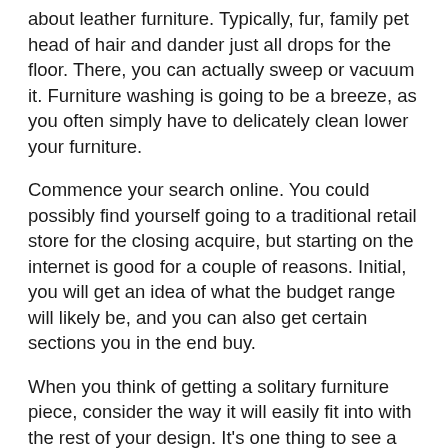about leather furniture. Typically, fur, family pet head of hair and dander just all drops for the floor. There, you can actually sweep or vacuum it. Furniture washing is going to be a breeze, as you often simply have to delicately clean lower your furniture.
Commence your search online. You could possibly find yourself going to a traditional retail store for the closing acquire, but starting on the internet is good for a couple of reasons. Initial, you will get an idea of what the budget range will likely be, and you can also get certain sections you in the end buy.
When you think of getting a solitary furniture piece, consider the way it will easily fit into with the rest of your design. It's one thing to see a flamingo area dinner table out while you're purchasing, but it's one more thing to bring it house and attempt to make it work with everything else else you possess. Believe cautiously before you buy.